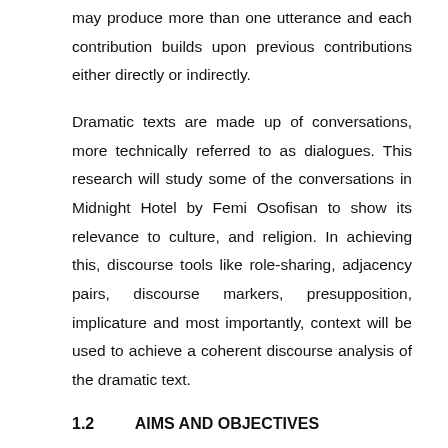may produce more than one utterance and each contribution builds upon previous contributions either directly or indirectly.
Dramatic texts are made up of conversations, more technically referred to as dialogues. This research will study some of the conversations in Midnight Hotel by Femi Osofisan to show its relevance to culture, and religion. In achieving this, discourse tools like role-sharing, adjacency pairs, discourse markers, presupposition, implicature and most importantly, context will be used to achieve a coherent discourse analysis of the dramatic text.
1.2   AIMS AND OBJECTIVES
This research primarily aims to investigate the